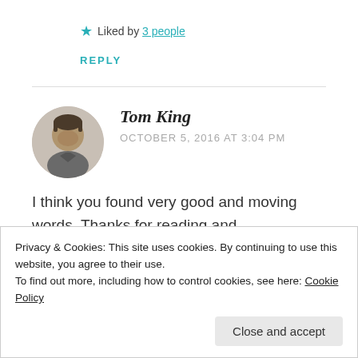★ Liked by 3 people
REPLY
Tom King
OCTOBER 5, 2016 AT 3:04 PM
I think you found very good and moving words. Thanks for reading and
Privacy & Cookies: This site uses cookies. By continuing to use this website, you agree to their use.
To find out more, including how to control cookies, see here: Cookie Policy
Close and accept